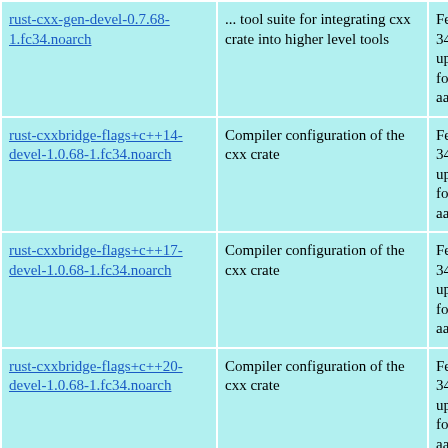| rust-cxx-gen-devel-0.7.68-1.fc34.noarch | ... tool suite for integrating cxx crate into higher level tools | Fedora 34 updates for aarch64 |
| rust-cxxbridge-flags+c++14-devel-1.0.68-1.fc34.noarch | Compiler configuration of the cxx crate | Fedora 34 updates for aarch64 |
| rust-cxxbridge-flags+c++17-devel-1.0.68-1.fc34.noarch | Compiler configuration of the cxx crate | Fedora 34 updates for aarch64 |
| rust-cxxbridge-flags+c++20-devel-1.0.68-1.fc34.noarch | Compiler configuration of the cxx crate | Fedora 34 updates for aarch64 |
| rust-cxxbridge-flags+default-devel-1.0.68-1.fc34.noarch | Compiler configuration of the cxx crate | Fedora 34 updates for aarch64 |
|  |  | Fedora |